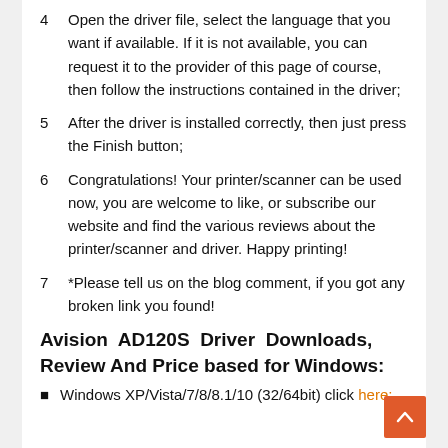4  Open the driver file, select the language that you want if available. If it is not available, you can request it to the provider of this page of course, then follow the instructions contained in the driver;
5  After the driver is installed correctly, then just press the Finish button;
6  Congratulations! Your printer/scanner can be used now, you are welcome to like, or subscribe our website and find the various reviews about the printer/scanner and driver. Happy printing!
7  *Please tell us on the blog comment, if you got any broken link you found!
Avision AD120S Driver Downloads, Review And Price based for Windows:
Windows XP/Vista/7/8/8.1/10 (32/64bit) click here;